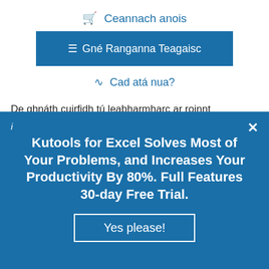🛒 Ceannach anois
☰ Gné Ranganna Teagaisc
)) Cad atá nua?
De ghnáth cuirfidh tú leabharmharc ar roinnt leathanaigh ghréasáin sa bhrabhsálaí is fearr leat IE nó leabharmharcanna brabhsálaí Firefox, ionas...
[Figure (screenshot): Popup advertisement: 'Kutools for Excel Solves Most of Your Problems, and Increases Your Productivity By 80%. Full Features 30-day Free Trial.' with a 'Yes please!' button on blue background.]